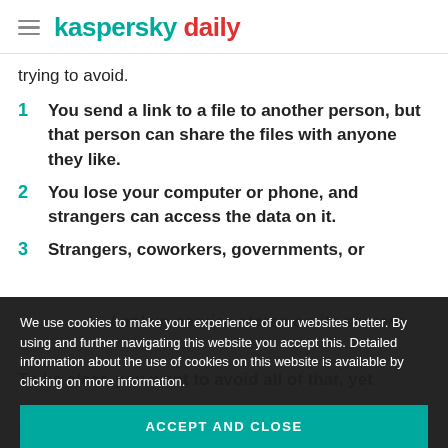kaspersky daily
trying to avoid.
1  You send a link to a file to another person, but that person can share the files with anyone they like.
2  You lose your computer or phone, and strangers can access the data on it.
3  Strangers, coworkers, governments, or ...
We use cookies to make your experience of our websites better. By using and further navigating this website you accept this. Detailed information about the use of cookies on this website is available by clicking on more information.
ACCEPT AND CLOSE